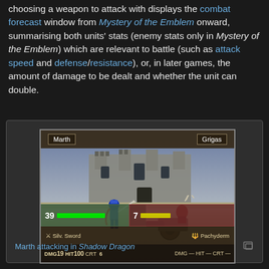choosing a weapon to attack with displays the combat forecast window from Mystery of the Emblem onward, summarising both units' stats (enemy stats only in Mystery of the Emblem) which are relevant to battle (such as attack speed and defense/resistance), or, in later games, the amount of damage to be dealt and whether the unit can double.
[Figure (screenshot): Fire Emblem Shadow Dragon game screenshot showing combat scene. Marth attacking Grigas. Marth uses Silv. Sword, Grigas uses Pachyderm. HP bars shown. DMG 19, HIT 100, CRT 6 for Marth; DMG -, HIT -, CRT - for Grigas.]
Marth attacking in Shadow Dragon